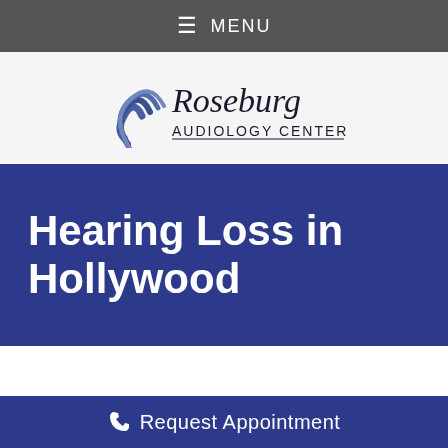≡ MENU
[Figure (logo): Roseburg Audiology Center logo with stylized sound wave graphic and script/serif text]
Hearing Loss in Hollywood
☎ Request Appointment